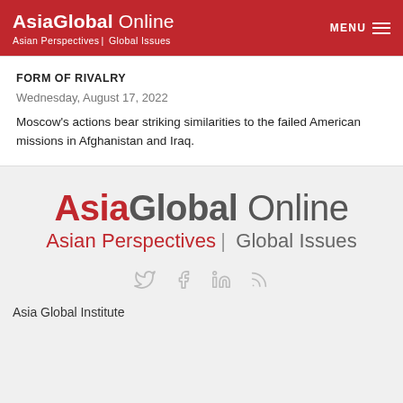AsiaGlobal Online — Asian Perspectives | Global Issues — MENU
FORM OF RIVALRY
Wednesday, August 17, 2022
Moscow's actions bear striking similarities to the failed American missions in Afghanistan and Iraq.
[Figure (logo): AsiaGlobal Online logo — large version with tagline: Asian Perspectives | Global Issues]
[Figure (infographic): Social media icons: Twitter, Facebook, LinkedIn, RSS]
Asia Global Institute